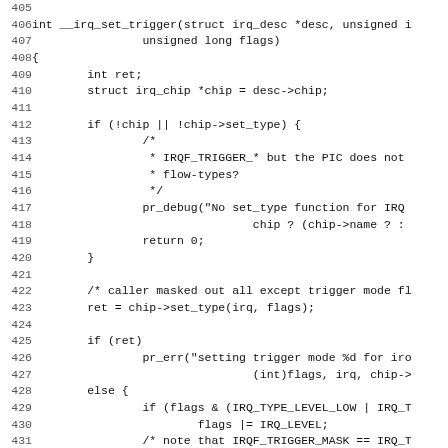Source code listing lines 405-437, function __irq_set_trigger in C